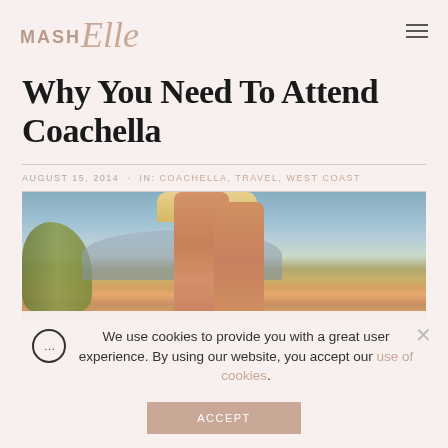MASH Elle
Why You Need To Attend Coachella
AUGUST 15, 2014 · IN: COACHELLA, TRAVEL, WEST COAST
[Figure (photo): Outdoor photo showing a person's legs in a skirt, with desert landscape, trees and mountains in the background at Coachella.]
We use cookies to provide you with a great user experience. By using our website, you accept our use of cookies.